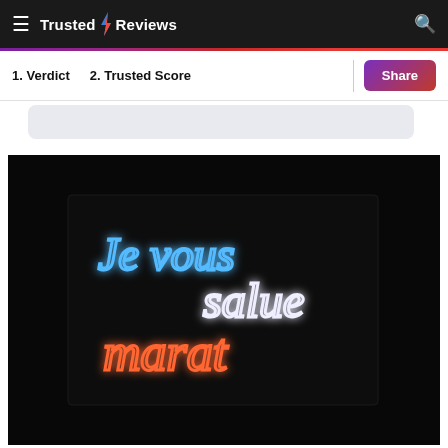Trusted Reviews
1. Verdict   2. Trusted Score
[Figure (photo): Neon sign reading 'Je vous salue marat' in blue, white, and red/orange neon lettering against a dark background]
Share